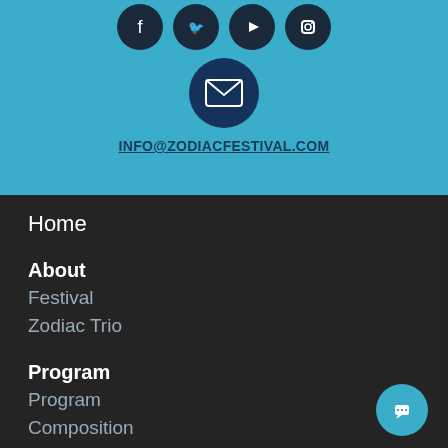[Figure (screenshot): Social media icons (Facebook, Twitter, YouTube, Instagram) as dark circles on teal background, plus a dark blue circle with envelope/email icon, and the email address INFO@ZODIACFESTIVAL.COM as a link]
Home
About
Festival
Zodiac Trio
Program
Program
Composition
Faculty
Accommodations
Location
Application & Fees
Gallery